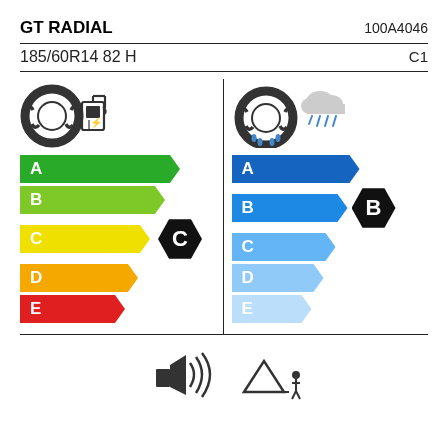GT RADIAL
100A4046
185/60R14 82 H
C1
[Figure (infographic): EU tyre label showing fuel efficiency rating C (left panel with tire and fuel pump icons, A-E color scale with C highlighted) and wet grip rating B (right panel with tire and rain cloud icons, A-E blue scale with B highlighted), plus external rolling noise section at the bottom.]